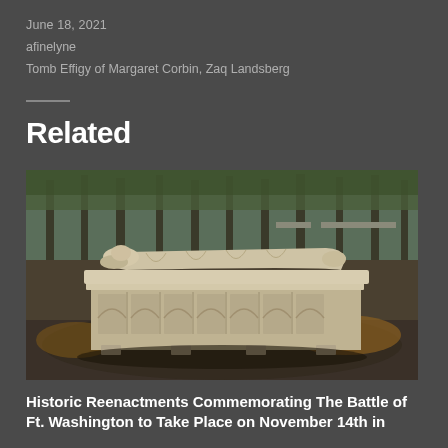June 18, 2021
afinelyne
Tomb Effigy of Margaret Corbin, Zaq Landsberg
Related
[Figure (photo): Photograph of a stone tomb effigy of Margaret Corbin, showing a recumbent figure lying on top of a Gothic-style carved stone sarcophagus with arched decorative panels. The tomb is outdoors in a park setting with trees visible in the background.]
Historic Reenactments Commemorating The Battle of Ft. Washington to Take Place on November 14th in